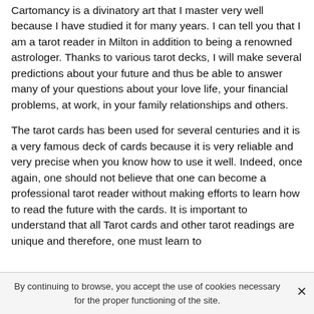Cartomancy is a divinatory art that I master very well because I have studied it for many years. I can tell you that I am a tarot reader in Milton in addition to being a renowned astrologer. Thanks to various tarot decks, I will make several predictions about your future and thus be able to answer many of your questions about your love life, your financial problems, at work, in your family relationships and others.

The tarot cards has been used for several centuries and it is a very famous deck of cards because it is very reliable and very precise when you know how to use it well. Indeed, once again, one should not believe that one can become a professional tarot reader without making efforts to learn how to read the future with the cards. It is important to understand that all Tarot cards and other tarot readings are unique and therefore, one must learn to
By continuing to browse, you accept the use of cookies necessary for the proper functioning of the site.